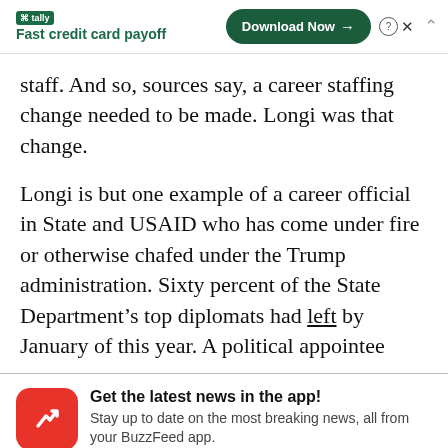[Figure (screenshot): Tally app advertisement banner with logo, 'Fast credit card payoff' tagline, 'Download Now' button, close/info icons, and collapse chevron]
staff. And so, sources say, a career staffing change needed to be made. Longi was that change.
Longi is but one example of a career official in State and USAID who has come under fire or otherwise chafed under the Trump administration. Sixty percent of the State Department’s top diplomats had left by January of this year. A political appointee
[Figure (screenshot): BuzzFeed app notification banner with red icon (white trending arrow), bold text 'Get the latest news in the app!', subtitle 'Stay up to date on the most breaking news, all from your BuzzFeed app.', 'Maybe later' link and 'Get the app' blue button]